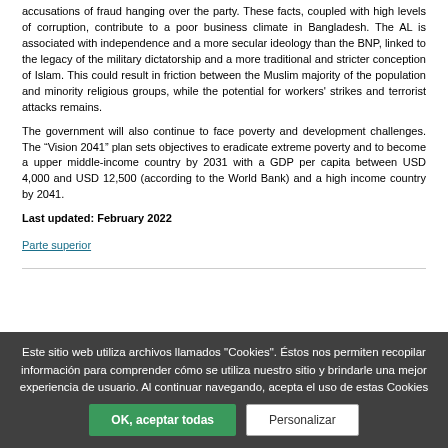accusations of fraud hanging over the party. These facts, coupled with high levels of corruption, contribute to a poor business climate in Bangladesh. The AL is associated with independence and a more secular ideology than the BNP, linked to the legacy of the military dictatorship and a more traditional and stricter conception of Islam. This could result in friction between the Muslim majority of the population and minority religious groups, while the potential for workers' strikes and terrorist attacks remains.
The government will also continue to face poverty and development challenges. The “Vision 2041” plan sets objectives to eradicate extreme poverty and to become a upper middle-income country by 2031 with a GDP per capita between USD 4,000 and USD 12,500 (according to the World Bank) and a high income country by 2041.
Last updated: February 2022
Parte superior
Este sitio web utiliza archivos llamados "Cookies". Éstos nos permiten recopilar información para comprender cómo se utiliza nuestro sitio y brindarle una mejor experiencia de usuario. Al continuar navegando, acepta el uso de estas Cookies